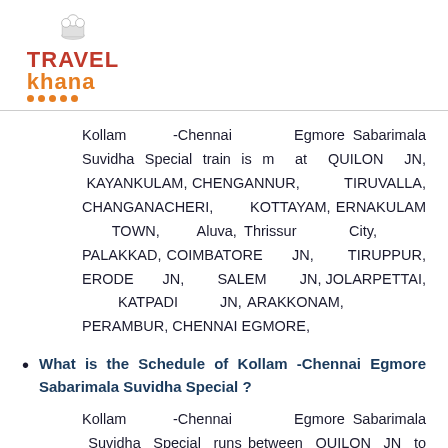Travel Khana logo
Kollam -Chennai Egmore Sabarimala Suvidha Special train is m at QUILON JN, KAYANKULAM, CHENGANNUR, TIRUVALLA, CHANGANACHERI, KOTTAYAM, ERNAKULAM TOWN, Aluva, Thrissur City, PALAKKAD, COIMBATORE JN, TIRUPPUR, ERODE JN, SALEM JN, JOLARPETTAI, KATPADI JN, ARAKKONAM, PERAMBUR, CHENNAI EGMORE,
What is the Schedule of Kollam -Chennai Egmore Sabarimala Suvidha Special ?
Kollam -Chennai Egmore Sabarimala Suvidha Special runs between QUILON JN to CHENNAI